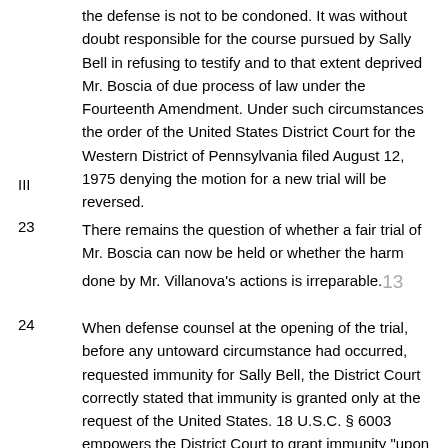the defense is not to be condoned. It was without doubt responsible for the course pursued by Sally Bell in refusing to testify and to that extent deprived Mr. Boscia of due process of law under the Fourteenth Amendment. Under such circumstances the order of the United States District Court for the Western District of Pennsylvania filed August 12, 1975 denying the motion for a new trial will be reversed.
III
There remains the question of whether a fair trial of Mr. Boscia can now be held or whether the harm done by Mr. Villanova's actions is irreparable.13
When defense counsel at the opening of the trial, before any untoward circumstance had occurred, requested immunity for Sally Bell, the District Court correctly stated that immunity is granted only at the request of the United States. 18 U.S.C. § 6003 empowers the District Court to grant immunity "upon the request of the United States attorney for such district." The conflict between the right of a defendant to produce evidence in his favor and the right of witnesses not to incriminate themselves has been raised in many cases when